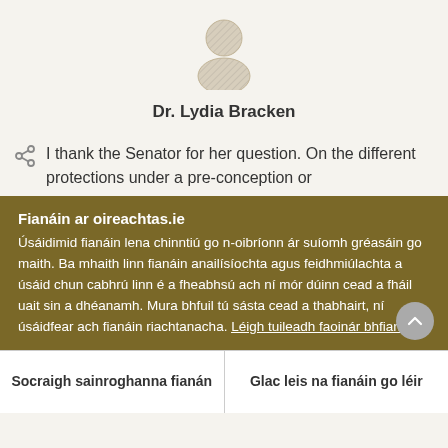[Figure (illustration): Generic avatar/profile silhouette icon in grey and beige tones]
Dr. Lydia Bracken
I thank the Senator for her question. On the different protections under a pre-conception or
Fianáin ar oireachtas.ie
Úsáidimid fianáin lena chinntiú go n-oibríonn ár suíomh gréasáin go maith. Ba mhaith linn fianáin anailísíochta agus feidhmiúlachta a úsáid chun cabhrú linn é a fheabhsú ach ní mór dúinn cead a fháil uait sin a dhéanamh. Mura bhfuil tú sásta cead a thabhairt, ní úsáidfear ach fianáin riachtanacha. Léigh tuileadh faoinár bhfianáin
Socraigh sainroghanna fianán
Glac leis na fianáin go léir